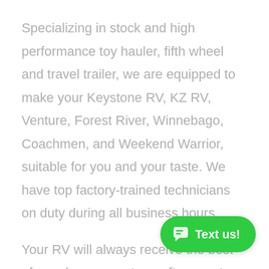Specializing in stock and high performance toy hauler, fifth wheel and travel trailer, we are equipped to make your Keystone RV, KZ RV, Venture, Forest River, Winnebago, Coachmen, and Weekend Warrior, suitable for you and your taste. We have top factory-trained technicians on duty during all business hours.
Your RV will always receive the best of care by our master craftsmen at Tacoma RV. From roofs and appliances, to slide-outs and awnings, we are here to help you with all your service needs.
We honor all warranty work for the products we carry and accommodate any type of problem that may…